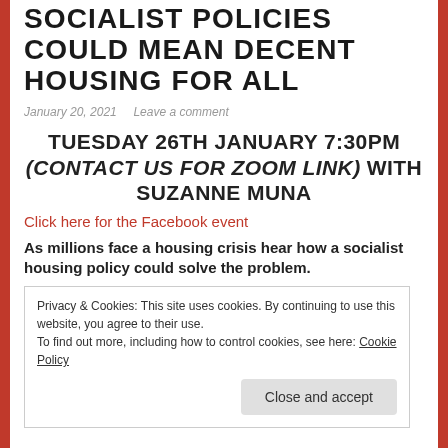SOCIALIST POLICIES COULD MEAN DECENT HOUSING FOR ALL
January 20, 2021   Leave a comment
TUESDAY 26TH JANUARY 7:30PM (CONTACT US FOR ZOOM LINK) WITH SUZANNE MUNA
Click here for the Facebook event
As millions face a housing crisis hear how a socialist housing policy could solve the problem.
Privacy & Cookies: This site uses cookies. By continuing to use this website, you agree to their use.
To find out more, including how to control cookies, see here: Cookie Policy

Close and accept